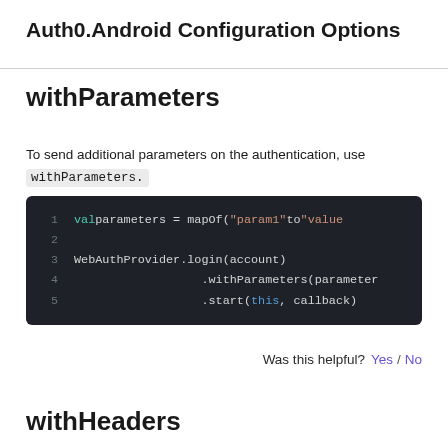Auth0.Android Configuration Options
withParameters
To send additional parameters on the authentication, use withParameters.
[Figure (screenshot): Code block on dark background showing Kotlin code: 1  val parameters = mapOf("param1" to "value  2  (blank)  3  WebAuthProvider.login(account)  4                    .withParameters(parameter  5                    .start(this, callback)]
Was this helpful?  Yes / No
withHeaders